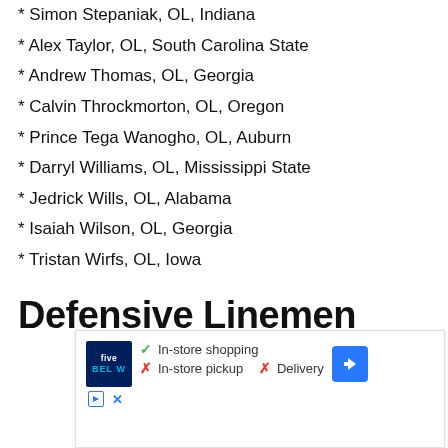* Simon Stepaniak, OL, Indiana
* Alex Taylor, OL, South Carolina State
* Andrew Thomas, OL, Georgia
* Calvin Throckmorton, OL, Oregon
* Prince Tega Wanogho, OL, Auburn
* Darryl Williams, OL, Mississippi State
* Jedrick Wills, OL, Alabama
* Isaiah Wilson, OL, Georgia
* Tristan Wirfs, OL, Iowa
Defensive Linemen
[Figure (other): Five Below advertisement showing in-store shopping availability: checkmark for In-store shopping, X for In-store pickup, X for Delivery, with navigation arrow icon]